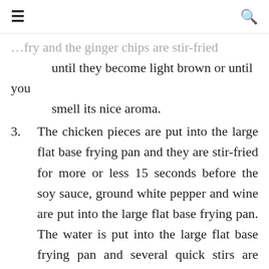≡  🔍
…fry and the ginger chips are stir-fried until they become light brown or until you smell its nice aroma.
3. The chicken pieces are put into the large flat base frying pan and they are stir-fried for more or less 15 seconds before the soy sauce, ground white pepper and wine are put into the large flat base frying pan. The water is put into the large flat base frying pan and several quick stirs are done.
4. The large flat base frying pan is covered with a lid and the ingredients are to be…